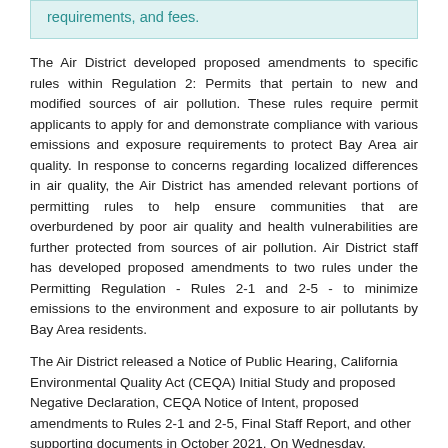requirements, and fees.
The Air District developed proposed amendments to specific rules within Regulation 2: Permits that pertain to new and modified sources of air pollution. These rules require permit applicants to apply for and demonstrate compliance with various emissions and exposure requirements to protect Bay Area air quality. In response to concerns regarding localized differences in air quality, the Air District has amended relevant portions of permitting rules to help ensure communities that are overburdened by poor air quality and health vulnerabilities are further protected from sources of air pollution. Air District staff has developed proposed amendments to two rules under the Permitting Regulation - Rules 2-1 and 2-5 - to minimize emissions to the environment and exposure to air pollutants by Bay Area residents.
The Air District released a Notice of Public Hearing, California Environmental Quality Act (CEQA) Initial Study and proposed Negative Declaration, CEQA Notice of Intent, proposed amendments to Rules 2-1 and 2-5, Final Staff Report, and other supporting documents in October 2021. On Wednesday, December 15, 2021, the Air District Board of Directors...